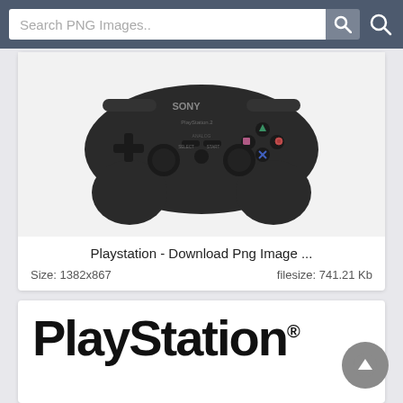[Figure (screenshot): Search bar with 'Search PNG Images..' placeholder text and search button icons on a dark blue-grey background]
[Figure (photo): Sony PlayStation DualShock controller image on white/light background]
Playstation - Download Png Image ...
Size: 1382x867    filesize: 741.21 Kb
[Figure (logo): PlayStation® logo in large bold black text on white background]